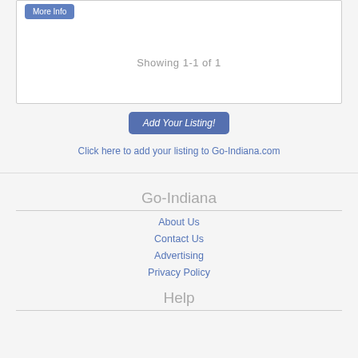[Figure (screenshot): Partial listing box with 'More Info' button at top left]
Showing  1-1 of 1
Add Your Listing!
Click here to add your listing to Go-Indiana.com
Go-Indiana
About Us
Contact Us
Advertising
Privacy Policy
Help